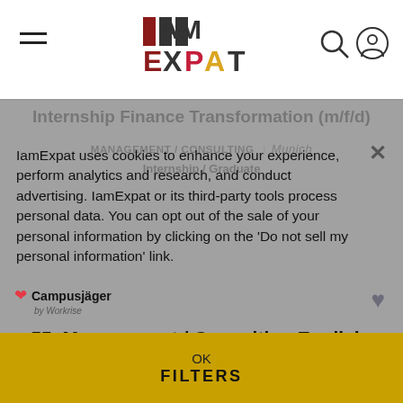IamExpat logo header with hamburger menu and search/profile icons
Internship Finance Transformation (m/f/d)
MANAGEMENT / CONSULTING | Munich
Internship / Graduate
IamExpat uses cookies to enhance your experience, perform analytics and research, and conduct advertising. IamExpat or its third-party tools process personal data. You can opt out of the sale of your personal information by clicking on the 'Do not sell my personal information' link.
[Figure (logo): Campusjager logo with red heart icon and 'by Workrise' subtitle]
55 Management / Consulting English-speaking jobs in Munich, Germany
Do not sell my personal information
OK
FILTERS